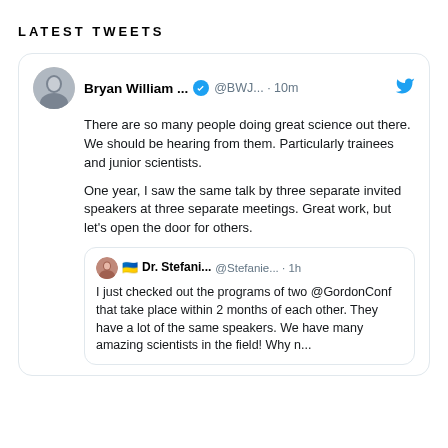LATEST TWEETS
[Figure (screenshot): Tweet from Bryan William ... (@BWJ...) · 10m with Twitter bird icon. Text: 'There are so many people doing great science out there. We should be hearing from them. Particularly trainees and junior scientists.

One year, I saw the same talk by three separate invited speakers at three separate meetings. Great work, but let’s open the door for others.' Quoted tweet from Dr. Stefani... (@Stefanie...) · 1h: 'I just checked out the programs of two @GordonConf that take place within 2 months of each other. They have a lot of the same speakers. We have many amazing scientists in the field! Why n...']